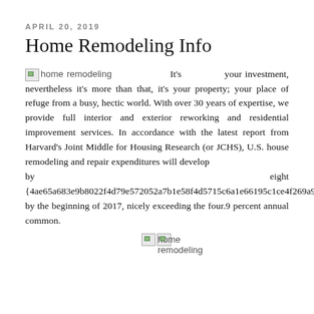APRIL 20, 2019
Home Remodeling Info
It's your investment, nevertheless it's more than that, it's your property; your place of refuge from a busy, hectic world. With over 30 years of expertise, we provide full interior and exterior reworking and residential improvement services. In accordance with the latest report from Harvard's Joint Middle for Housing Research (or JCHS), U.S. house remodeling and repair expenditures will develop by eight {4ae65a683e9b8022f4d79e572052a7b1e58f4d5715c6a1e66195c1ce4f269a95} by the beginning of 2017, nicely exceeding the four.9 percent annual common.
[Figure (photo): home remodeling broken image placeholder at bottom center]